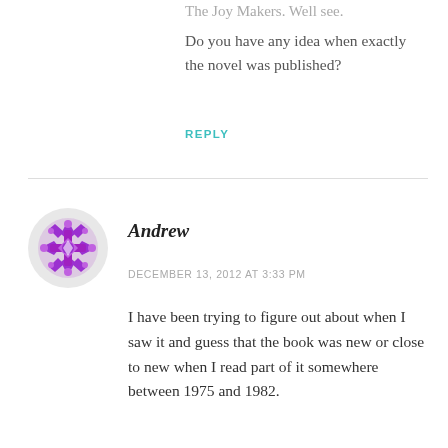The Joy Makers. Well see.
Do you have any idea when exactly the novel was published?
REPLY
Andrew
DECEMBER 13, 2012 AT 3:33 PM
I have been trying to figure out about when I saw it and guess that the book was new or close to new when I read part of it somewhere between 1975 and 1982.